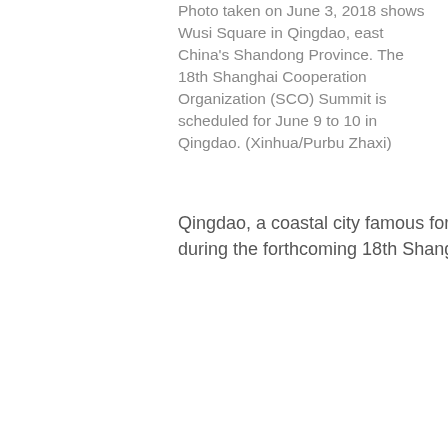Photo taken on June 3, 2018 shows Wusi Square in Qingdao, east China's Shandong Province. The 18th Shanghai Cooperation Organization (SCO) Summit is scheduled for June 9 to 10 in Qingdao. (Xinhua/Purbu Zhaxi)
Qingdao, a coastal city famous for its beaches and beer, is ready to impress the world during the forthcoming 18th Shanghai Cooperation Organization (SCO) summit.
Local resident Shan Zhixian, 76, has been a volunteer tour guide over the past two decades. He knows the history and scenery of the city by heart. Excited about the summit, he said, "I am so proud to witness such a grand event in my hometown. People who come here for the summit will definitely be amazed by the beauty of this city."
The summit, the first after the SCO accepted India and Pakistan as full members in June 2017 , will run from June 9 to 10 and will be attended by